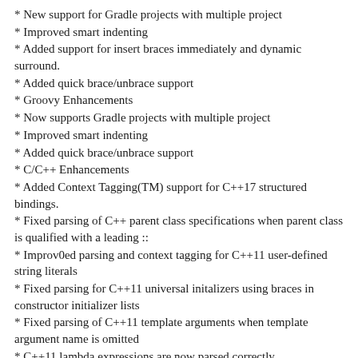* New support for Gradle projects with multiple project
* Improved smart indenting
* Added support for insert braces immediately and dynamic surround.
* Added quick brace/unbrace support
* Groovy Enhancements
* Now supports Gradle projects with multiple project
* Improved smart indenting
* Added quick brace/unbrace support
* C/C++ Enhancements
* Added Context Tagging(TM) support for C++17 structured bindings.
* Fixed parsing of C++ parent class specifications when parent class is qualified with a leading ::
* Improv0ed parsing and context tagging for C++11 user-defined string literals
* Fixed parsing for C++11 universal initalizers using braces in constructor initializer lists
* Fixed parsing of C++11 template arguments when template argument name is omitted
* C++11 lambda expressions are now parsed correctly
* Improved Context Tagging and Symbol coloring for constructor initializer lists, especially C++11 delegating constructors
* Changed option to automatically process #defines within the current file to be off by default